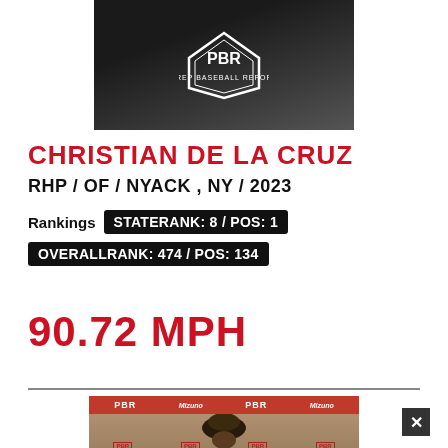[Figure (photo): Player in black PBR (Prep Baseball Report) jersey, upper body photo cropped at top of page]
CHRISTIAN DE LA CRUZ
RHP / OF / NYACK , NY / 2023
Rankings STATE RANK: 8 / POS: 1
OVERALL RANK: 474 / POS: 134
90.72 MPH
[Figure (photo): Second player photo at bottom of page with PBR branded backdrop, player wearing cap]